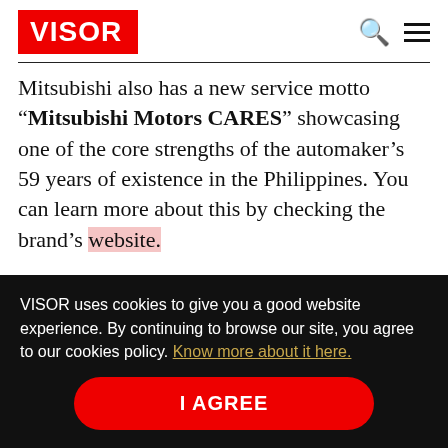VISOR
Mitsubishi also has a new service motto “Mitsubishi Motors CARES” showcasing one of the core strengths of the automaker’s 59 years of existence in the Philippines. You can learn more about this by checking the brand’s website.
VISOR uses cookies to give you a good website experience. By continuing to browse our site, you agree to our cookies policy. Know more about it here.
I AGREE